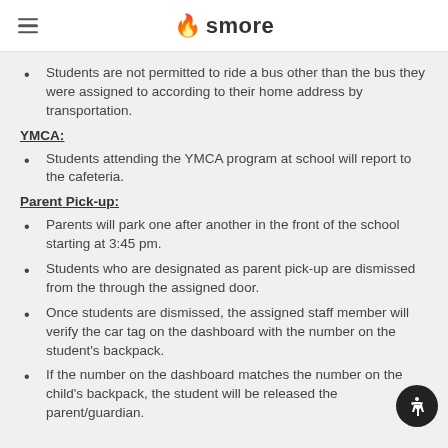smore
Students are not permitted to ride a bus other than the bus they were assigned to according to their home address by transportation.
YMCA:
Students attending the YMCA program at school will report to the cafeteria.
Parent Pick-up:
Parents will park one after another in the front of the school starting at 3:45 pm.
Students who are designated as parent pick-up are dismissed from the through the assigned door.
Once students are dismissed, the assigned staff member will verify the car tag on the dashboard with the number on the student's backpack.
If the number on the dashboard matches the number on the child's backpack, the student will be released the parent/guardian.